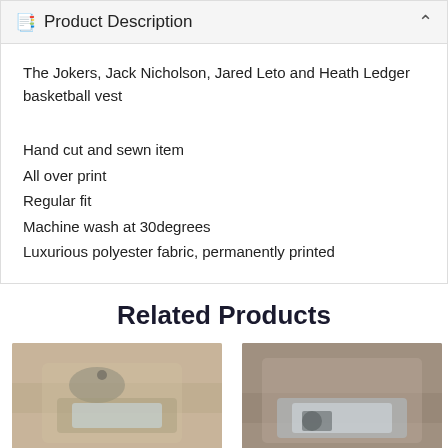📋 Product Description
The Jokers, Jack Nicholson, Jared Leto and Heath Ledger basketball vest
Hand cut and sewn item
All over print
Regular fit
Machine wash at 30degrees
Luxurious polyester fabric, permanently printed
Related Products
[Figure (photo): Product photo - phone case on sandy/stone surface, left]
[Figure (photo): Product photo - phone case on sandy surface, right]